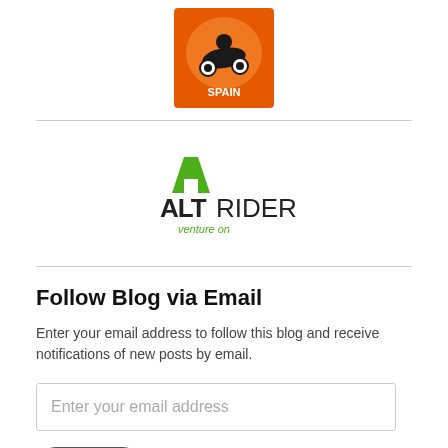[Figure (logo): Circular orange logo with a dirt bike rider and 'SPAIN' text at the bottom]
[Figure (logo): AltRider logo — green stylized A with ALT in dark bold and RIDER in dark text, 'venture on' tagline in green below]
Follow Blog via Email
Enter your email address to follow this blog and receive notifications of new posts by email.
Enter your email address
Follow